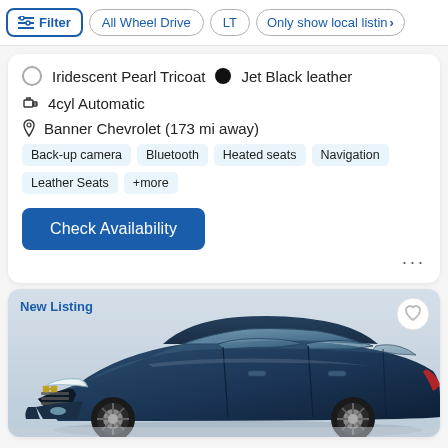Filter | All Wheel Drive | LT | Only show local listing
Iridescent Pearl Tricoat  •  Jet Black leather
4cyl Automatic
Banner Chevrolet (173 mi away)
Back-up camera
Bluetooth
Heated seats
Navigation
Leather Seats
+more
Check Availability
New Listing
[Figure (photo): Dark blue Chevrolet Equinox SUV shown from front-left three-quarter angle]